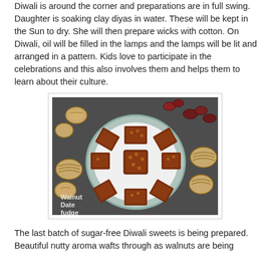Diwali is around the corner and preparations are in full swing. Daughter is soaking clay diyas in water. These will be kept in the Sun to dry. She will then prepare wicks with cotton. On Diwali, oil will be filled in the lamps and the lamps will be lit and arranged in a pattern. Kids love to participate in the celebrations and this also involves them and helps them to learn about their culture.
[Figure (photo): A plate of walnut date fudge squares arranged in a circular pattern on a white plate, surrounded by whole walnuts and dried dates on a dark background. Text overlay reads 'Walnut Date fudge'.]
The last batch of sugar-free Diwali sweets is being prepared. Beautiful nutty aroma wafts through as walnuts are being toasted in the oven. Dates have been selected - bitter-sweet,